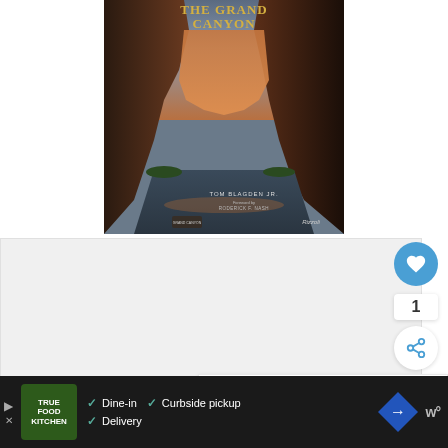[Figure (photo): Book cover of 'The Grand Canyon' by Tom Blagden Jr., showing a river flowing through dramatic canyon walls with golden light, with text 'Foreword by Roderick F. Nash' and publisher logos at bottom.]
[Figure (screenshot): White/gray content area below the book cover, with social buttons (heart/like button showing count of 1, share button) on the right side, and a 'What's Next' recommendation panel showing '15 Best Grand Canyon Tour...' with a thumbnail.]
[Figure (screenshot): Advertisement bar at the bottom: True Food Kitchen ad showing logo, checkmarks for Dine-in, Curbside pickup, Delivery, a navigation diamond icon, and a weather widget icon.]